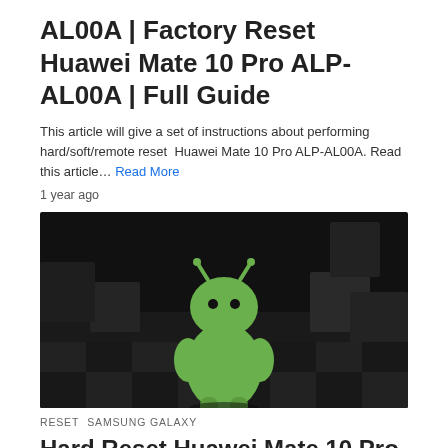AL00A | Factory Reset Huawei Mate 10 Pro ALP-AL00A | Full Guide
This article will give a set of instructions about performing hard/soft/remote reset  Huawei Mate 10 Pro ALP-AL00A. Read this article… Read More
1 year ago
[Figure (photo): 3D green Android robot mascot standing on a dark checkerboard-patterned floor with dark cube environment]
RESET  SAMSUNG GALAXY
Hard Reset Huawei Mate 10 Pro BLA-